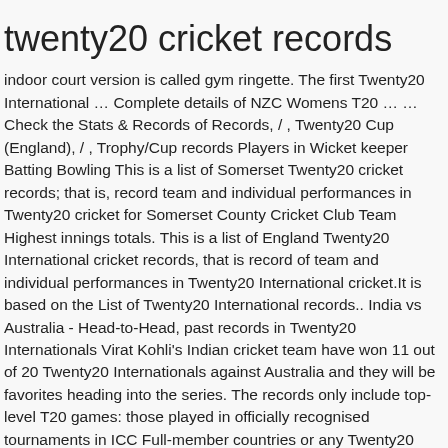twenty20 cricket records
indoor court version is called gym ringette. The first Twenty20 International … Complete details of NZC Womens T20 … … Check the Stats & Records of Records, / , Twenty20 Cup (England), / , Trophy/Cup records Players in Wicket keeper Batting Bowling This is a list of Somerset Twenty20 cricket records; that is, record team and individual performances in Twenty20 cricket for Somerset County Cricket Club Team Highest innings totals. This is a list of England Twenty20 International cricket records, that is record of team and individual performances in Twenty20 International cricket.It is based on the List of Twenty20 International records.. India vs Australia - Head-to-Head, past records in Twenty20 Internationals Virat Kohli's Indian cricket team have won 11 out of 20 Twenty20 Internationals against Australia and they will be favorites heading into the series. The records only include top-level T20 games: those played in officially recognised tournaments in ICC Full-member countries or any Twenty20 International. The game objective in the sport is to outscore the opposing team while two teams face off simultaneously. A Twenty20 International (T20I) is a form of cricket, played between two of the international members of the International Cricket Council (ICC), in which each team faces a